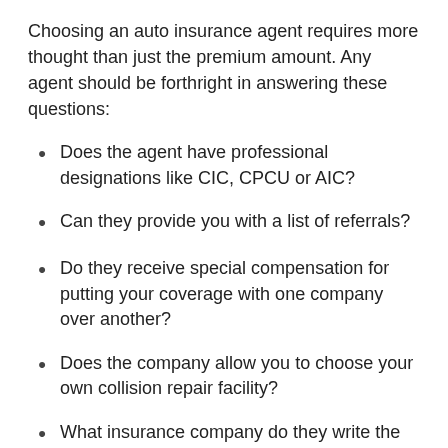Choosing an auto insurance agent requires more thought than just the premium amount. Any agent should be forthright in answering these questions:
Does the agent have professional designations like CIC, CPCU or AIC?
Can they provide you with a list of referrals?
Do they receive special compensation for putting your coverage with one company over another?
Does the company allow you to choose your own collision repair facility?
What insurance company do they write the most business with?
How long have they worked with personal auto insurance coverage?
Does the agency have a good rating with the Better Business Bureau?
Do clients work directly with the agent or are most